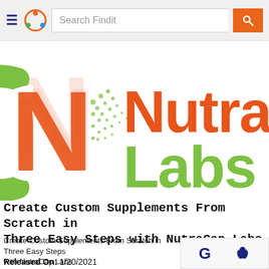Search Findit
[Figure (logo): NutraCap Labs logo with orange and green capsule icon and orange/green text]
Create Custom Supplements From Scratch in Three Easy Steps with NutraCap Labs
Create Custom Supplements From Scratch in Three Easy Steps with NutraCap Labs
Released On: 1/20/2021